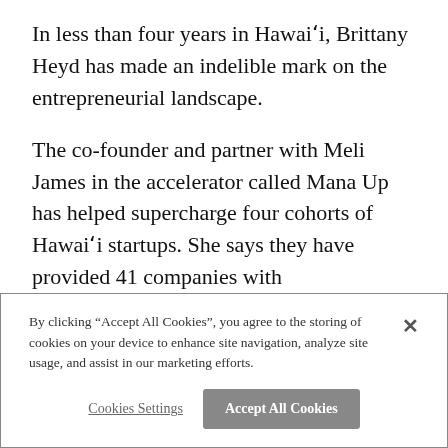In less than four years in Hawaiʻi, Brittany Heyd has made an indelible mark on the entrepreneurial landscape.
The co-founder and partner with Meli James in the accelerator called Mana Up has helped supercharge four cohorts of Hawaiʻi startups. She says they have provided 41 companies with
By clicking “Accept All Cookies”, you agree to the storing of cookies on your device to enhance site navigation, analyze site usage, and assist in our marketing efforts.
Cookies Settings
Accept All Cookies